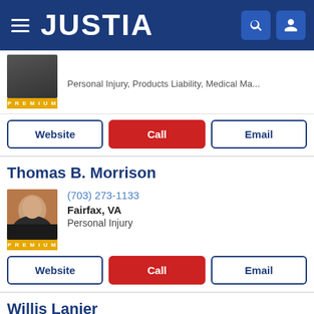JUSTIA
Personal Injury, Products Liability, Medical Ma...
Website | Call | Email
Thomas B. Morrison
(703) 273-1133
Fairfax, VA
Personal Injury
Website | Call | Email
Willis Lanier
(703) 879-1998